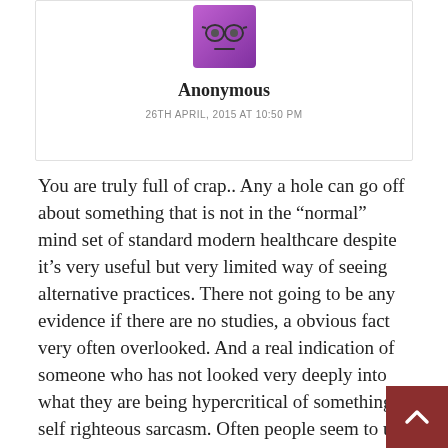[Figure (illustration): Purple/violet square avatar with cartoon face (glasses and neutral expression), displayed at top center of comment card]
Anonymous
26TH APRIL, 2015 AT 10:50 PM
You are truly full of crap.. Any a hole can go off about something that is not in the “normal” mind set of standard modern healthcare despite it’s very useful but very limited way of seeing alternative practices. There not going to be any evidence if there are no studies, a obvious fact very often overlooked. And a real indication of someone who has not looked very deeply into what they are being hypercritical of something is self righteous sarcasm. Often people seem to use sarcasm as if their outlook is so obviously true. Hospitals are using acupuncture and tai chi and also rats of practices that were laughed at and sti… are just 10 years ago. This is not a practice that Manta Chia invented, many have written on this practice. It has